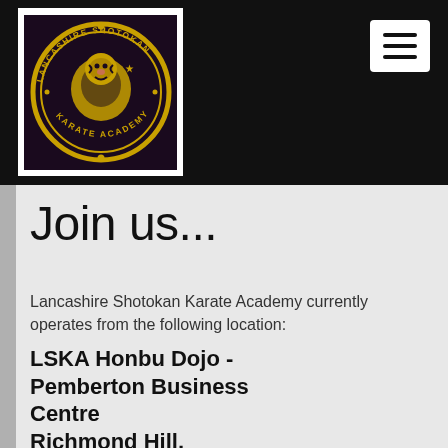[Figure (logo): Lancashire Shotokan Karate Academy circular logo in gold on dark purple background, showing a tiger with text around the circle reading 'LANCASHIRE SHOTOKAN KARATE ACADEMY']
Join us...
Lancashire Shotokan Karate Academy currently operates from the following location:
LSKA Honbu Dojo - Pemberton Business Centre Richmond Hill, Pemberton WN5 9...